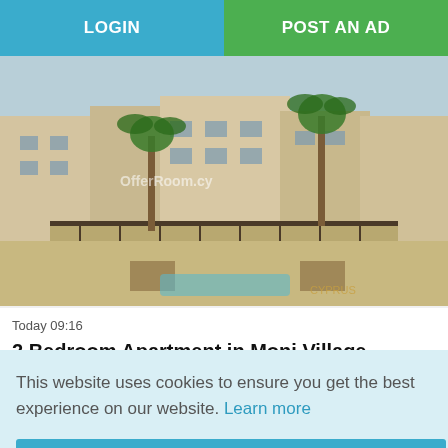LOGIN | POST AN AD
[Figure (photo): Exterior photo of a residential apartment building with palm trees, courtyard and iron railings. Watermarks: OfferRoom.cy and Cyprus logo visible.]
Today 09:16
2 Bedroom Apartment in Moni Village
€206.000
This website uses cookies to ensure you get the best experience on our website.  Learn more
Got it!
[Figure (photo): Partial view of another property listing at the bottom of the page, showing a modern building exterior with blue sky and palm tree.]